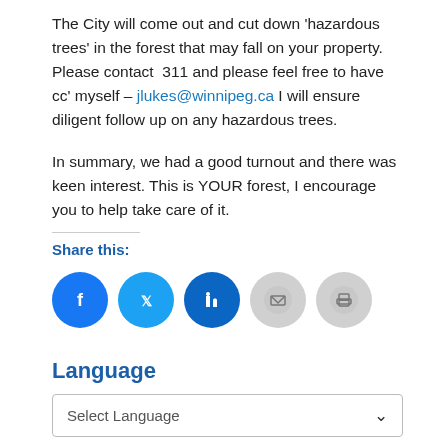The City will come out and cut down 'hazardous trees' in the forest that may fall on your property.  Please contact  311 and please feel free to have cc' myself – jlukes@winnipeg.ca I will ensure diligent follow up on any hazardous trees.
In summary, we had a good turnout and there was keen interest. This is YOUR forest, I encourage  you to help take care of it.
Share this:
[Figure (infographic): Row of five social sharing icon circles: Facebook (blue), Twitter (blue), LinkedIn (dark blue), Email (grey), Print (grey)]
Language
Select Language
Upcoming Events